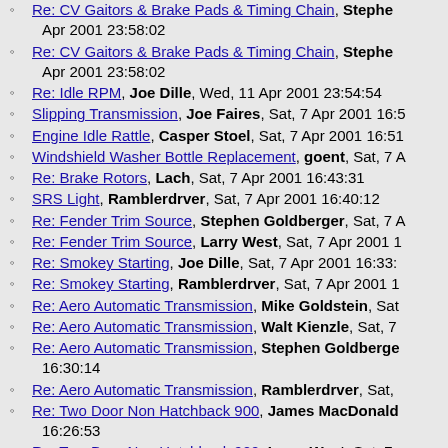Re: CV Gaitors & Brake Pads & Timing Chain, Stephen Apr 2001 23:58:02
Re: CV Gaitors & Brake Pads & Timing Chain, Stephen Apr 2001 23:58:02
Re: Idle RPM, Joe Dille, Wed, 11 Apr 2001 23:54:54
Slipping Transmission, Joe Faires, Sat, 7 Apr 2001 16:5
Engine Idle Rattle, Casper Stoel, Sat, 7 Apr 2001 16:51
Windshield Washer Bottle Replacement, goent, Sat, 7 A
Re: Brake Rotors, Lach, Sat, 7 Apr 2001 16:43:31
SRS Light, Ramblerdrver, Sat, 7 Apr 2001 16:40:12
Re: Fender Trim Source, Stephen Goldberger, Sat, 7 A
Re: Fender Trim Source, Larry West, Sat, 7 Apr 2001 1
Re: Smokey Starting, Joe Dille, Sat, 7 Apr 2001 16:33:
Re: Smokey Starting, Ramblerdrver, Sat, 7 Apr 2001 1
Re: Aero Automatic Transmission, Mike Goldstein, Sat
Re: Aero Automatic Transmission, Walt Kienzle, Sat, 7
Re: Aero Automatic Transmission, Stephen Goldberge 16:30:14
Re: Aero Automatic Transmission, Ramblerdrver, Sat,
Re: Two Door Non Hatchback 900, James MacDonald 16:26:53
Re: Two Door Non Hatchback 900, Larry West, Sat, 7
Re: Two Door Non Hatchback 900, David Prantl, Sat,
Cold Air Intake, DavidLipsitz, Sat, 7 Apr 2001 16:23:4
99 Gearbox, suthie99, Wed, 4 Apr 2001 10:40:35
Re: Funny Numbers, David Prantl, Wed, 4 Apr 200